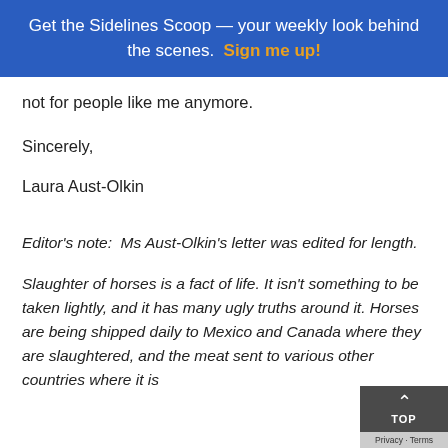Get the Sidelines Scoop — your weekly look behind the scenes. Sign me up!
not for people like me anymore.
Sincerely,
Laura Aust-Olkin
Editor's note: Ms Aust-Olkin's letter was edited for length.
Slaughter of horses is a fact of life. It isn't something to be taken lightly, and it has many ugly truths around it. Horses are being shipped daily to Mexico and Canada where they are slaughtered, and the meat sent to various other countries where it is